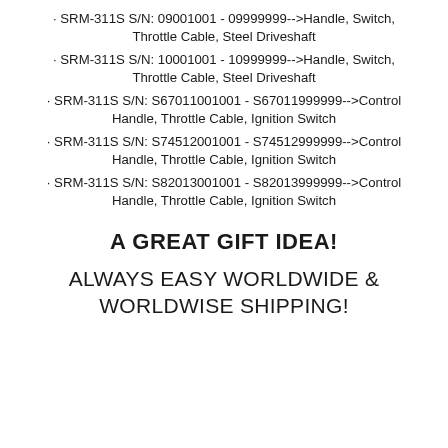· SRM-311S S/N: 09001001 - 09999999-->Handle, Switch, Throttle Cable, Steel Driveshaft
· SRM-311S S/N: 10001001 - 10999999-->Handle, Switch, Throttle Cable, Steel Driveshaft
· SRM-311S S/N: S67011001001 - S67011999999-->Control Handle, Throttle Cable, Ignition Switch
· SRM-311S S/N: S74512001001 - S74512999999-->Control Handle, Throttle Cable, Ignition Switch
· SRM-311S S/N: S82013001001 - S82013999999-->Control Handle, Throttle Cable, Ignition Switch
A GREAT GIFT IDEA!
ALWAYS EASY WORLDWIDE & WORLDWISE SHIPPING!